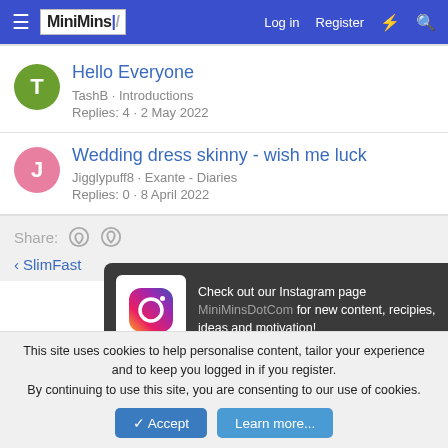MiniMins | Log in | Register
Hello Everyone
TashB · Introductions
Replies: 4 · 2 May 2022
Wedding dress skinny - wish me luck
Jigglypuff8 · Exante - Diaries
Replies: 0 · 8 April 2022
Share:
[Figure (infographic): Instagram promotion popup: Check out our Instagram page MiniMinsDotCom for new content, recipies, ideas and motivation!]
< SlimFast
This site uses cookies to help personalise content, tailor your experience and to keep you logged in if you register. By continuing to use this site, you are consenting to our use of cookies.
Accept | Learn more...